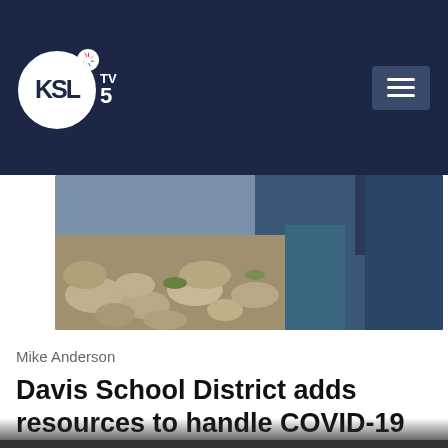KSL TV 5
[Figure (photo): News article header image showing rocks and water, outdoor scene]
Mike Anderson
Davis School District adds resources to handle COVID-19
We use cookies on this website to offer you a superior user experience, analyze site traffic, and personalize content and advertisements. By continuing to use our site, you consent to our use of cookies. Please visit our Privacy Policy for more information.
Accept Cookies